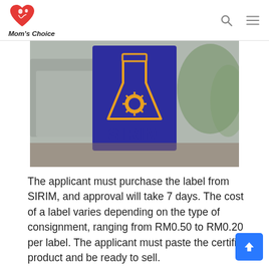Mom's Choice
[Figure (logo): SIRIM logo on a blurred outdoor background with industrial structures and palm trees. The logo shows a blue flask/beaker shape with a yellow gear/sun symbol inside, text SIRIM below in blue bold letters on a blue rectangle background.]
The applicant must purchase the label from SIRIM, and approval will take 7 days. The cost of a label varies depending on the type of consignment, ranging from RM0.50 to RM0.20 per label. The applicant must paste the certified product and be ready to sell.